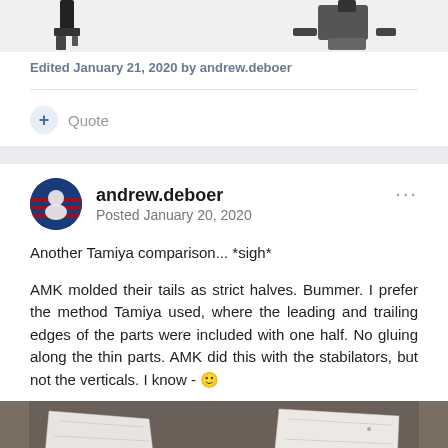[Figure (photo): Partial view of model kit parts (top of page, cropped)]
Edited January 21, 2020 by andrew.deboer
Quote
andrew.deboer
Posted January 20, 2020
Another Tamiya comparison... *sigh*
AMK molded their tails as strict halves. Bummer. I prefer the method Tamiya used, where the leading and trailing edges of the parts were included with one half. No gluing along the thin parts. AMK did this with the stabilators, but not the verticals. I know - 🙂
[Figure (photo): Photo of model aircraft tail/fin parts on dark background, two white pieces shown]